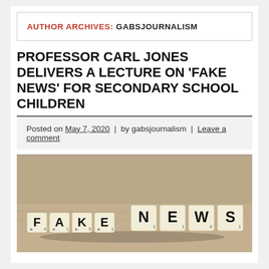AUTHOR ARCHIVES: GABSJOURNALISM
PROFESSOR CARL JONES DELIVERS A LECTURE ON 'FAKE NEWS' FOR SECONDARY SCHOOL CHILDREN
Posted on May 7, 2020 | by gabsjournalism | Leave a comment
[Figure (photo): Scrabble tiles spelling out FAKE NEWS on a wooden surface]